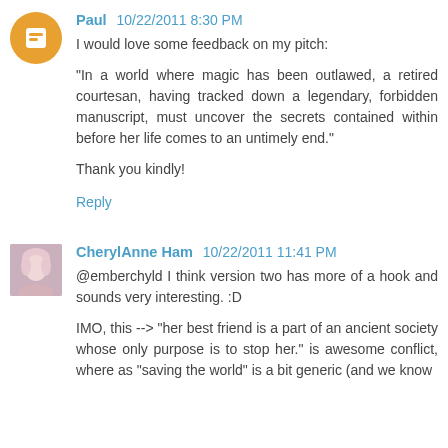Paul 10/22/2011 8:30 PM
I would love some feedback on my pitch:

"In a world where magic has been outlawed, a retired courtesan, having tracked down a legendary, forbidden manuscript, must uncover the secrets contained within before her life comes to an untimely end."

Thank you kindly!
Reply
CherylAnne Ham 10/22/2011 11:41 PM
@emberchyld I think version two has more of a hook and sounds very interesting. :D

IMO, this --> "her best friend is a part of an ancient society whose only purpose is to stop her." is awesome conflict, where as "saving the world" is a bit generic (and we know